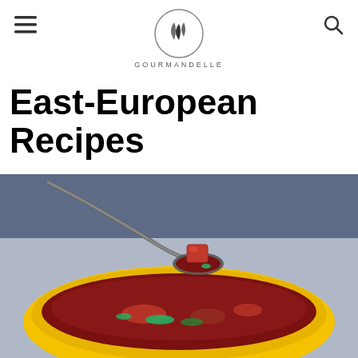GOURMANDELLE
East-European Recipes
[Figure (photo): A yellow bowl of borscht (beet soup) with a spoon held above it showing a cube of red beet, garnished with green herbs. The soup is deep red/maroon color with vegetables visible.]